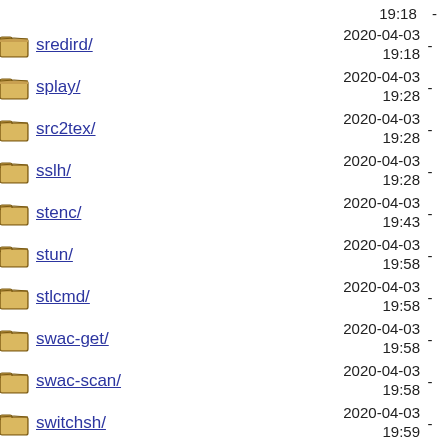spawn-regi/ 19:18 -
sredird/ 2020-04-03 19:18 -
splay/ 2020-04-03 19:28 -
src2tex/ 2020-04-03 19:28 -
sslh/ 2020-04-03 19:28 -
stenc/ 2020-04-03 19:43 -
stun/ 2020-04-03 19:58 -
stlcmd/ 2020-04-03 19:58 -
swac-get/ 2020-04-03 19:58 -
swac-scan/ 2020-04-03 19:58 -
switchsh/ 2020-04-03 19:59 -
swh-lv2/ 2020-04-03 19:59 -